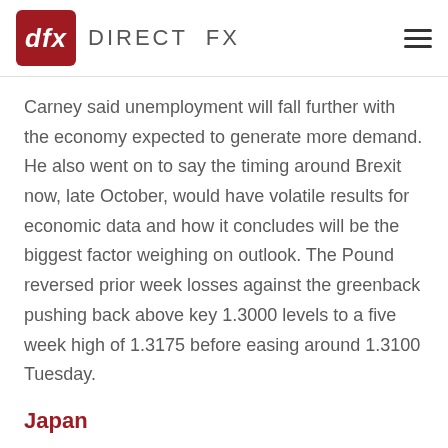dfx DIRECT FX
Carney said unemployment will fall further with the economy expected to generate more demand. He also went on to say the timing around Brexit now, late October, would have volatile results for economic data and how it concludes will be the biggest factor weighing on outlook. The Pound reversed prior week losses against the greenback pushing back above key 1.3000 levels to a five week high of 1.3175 before easing around 1.3100 Tuesday.
Japan
The Japanese Yen has spent the last 10 days